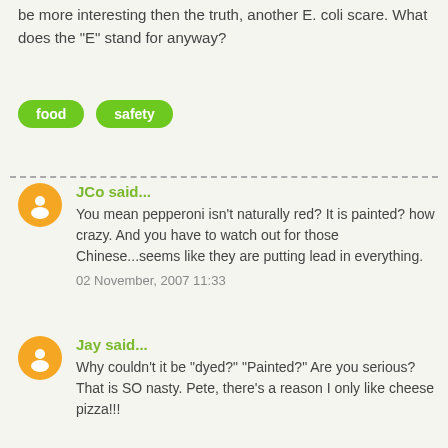be more interesting then the truth, another E. coli scare. What does the "E" stand for anyway?
food
safety
JCo said... You mean pepperoni isn't naturally red? It is painted? how crazy. And you have to watch out for those Chinese...seems like they are putting lead in everything. 02 November, 2007 11:33
Jay said... Why couldn't it be "dyed?" "Painted?" Are you serious? That is SO nasty. Pete, there's a reason I only like cheese pizza!!!